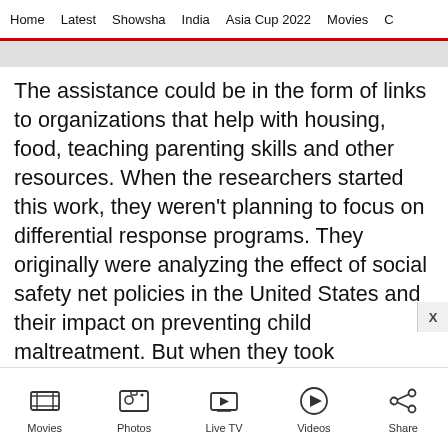Home   Latest   Showsha   India   Asia Cup 2022   Movies   C
The assistance could be in the form of links to organizations that help with housing, food, teaching parenting skills and other resources. When the researchers started this work, they weren't planning to focus on differential response programs. They originally were analyzing the effect of social safety net policies in the United States and their impact on preventing child maltreatment. But when they took differential response programs into accou
Movies   Photos   Live TV   Videos   Share